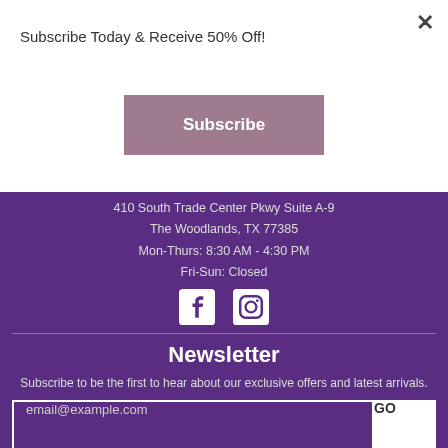Subscribe Today & Receive 50% Off!
Subscribe
×
410 South Trade Center Pkwy Suite A-9
The Woodlands, TX 77385
Mon-Thurs: 8:30 AM - 4:30 PM
Fri-Sun: Closed
[Figure (other): Facebook and Instagram social media icons]
Newsletter
Subscribe to be the first to hear about our exclusive offers and latest arrivals.
email@example.com
GO